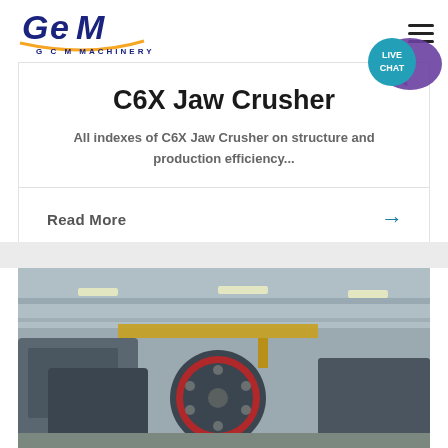[Figure (logo): GCM Machinery logo with blue and yellow GEM text and orange underline]
[Figure (infographic): Live Chat speech bubble icon with teal and purple colors]
C6X Jaw Crusher
All indexes of C6X Jaw Crusher on structure and production efficiency...
Read More →
[Figure (photo): Industrial factory floor showing large jaw crusher machines with flywheels in a warehouse setting]